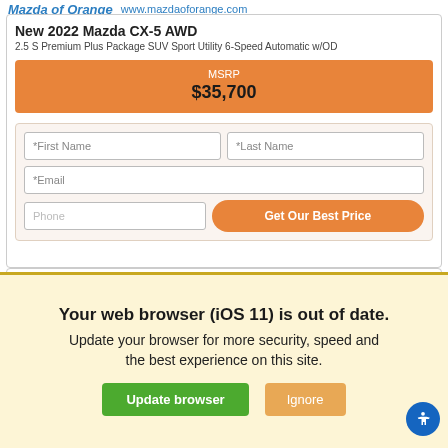Mazda of Orange   www.mazdaoforange.com
New 2022 Mazda CX-5 AWD
2.5 S Premium Plus Package SUV Sport Utility 6-Speed Automatic w/OD
MSRP $35,700
[Figure (screenshot): Contact form with First Name, Last Name, Email, Phone fields and Get Our Best Price button]
[Figure (screenshot): Blank white card section]
Your web browser (iOS 11) is out of date. Update your browser for more security, speed and the best experience on this site.
Update browser   Ignore